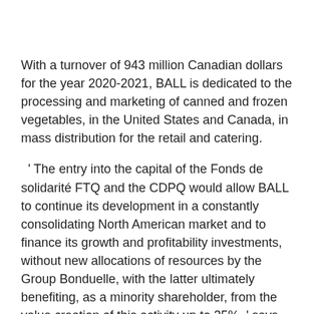With a turnover of 943 million Canadian dollars for the year 2020-2021, BALL is dedicated to the processing and marketing of canned and frozen vegetables, in the United States and Canada, in mass distribution for the retail and catering.
' The entry into the capital of the Fonds de solidarité FTQ and the CDPQ would allow BALL to continue its development in a constantly consolidating North American market and to finance its growth and profitability investments, without new allocations of resources by the Group Bonduelle, with the latter ultimately benefiting, as a minority shareholder, from the value creation of this activity up to 35%. ' says Guillaume Debrosse, Chief Executive Officer of the Bonduelle Group...